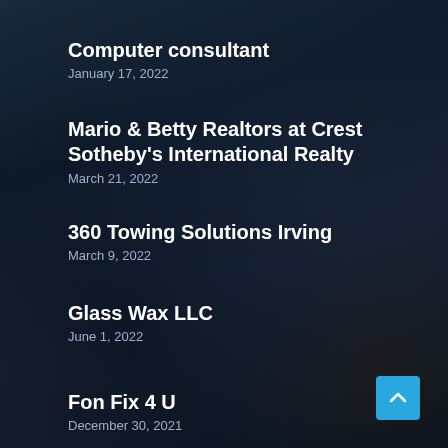Computer consultant
January 17, 2022
Mario & Betty Realtors at Crest Sotheby's International Realty
March 21, 2022
360 Towing Solutions Irving
March 9, 2022
Glass Wax LLC
June 1, 2022
Fon Fix 4 U
December 30, 2021
[Figure (illustration): Scroll-to-top button, cyan/blue square with upward chevron arrow]